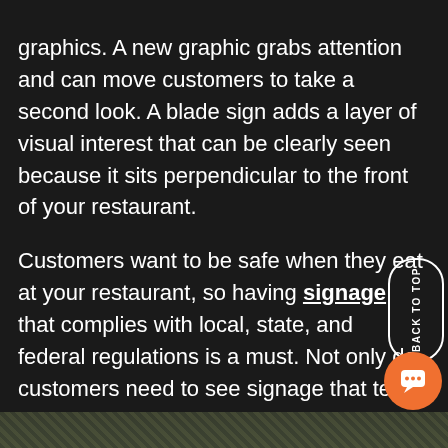graphics. A new graphic grabs attention and can move customers to take a second look. A blade sign adds a layer of visual interest that can be clearly seen because it sits perpendicular to the front of your restaurant.
Customers want to be safe when they eat at your restaurant, so having signage that complies with local, state, and federal regulations is a must. Not only do customers need to see signage that tells them what to do, but they also need to see what your employees are doing to comply as well. Clearly marked social distancing signage can be added to the floors as well. You may also want to highlight hand sanitizing stations and any mask-wearing instructions that comply with local laws.
[Figure (photo): Partial view of an outdoor photo at the bottom of the page, showing greenery/foliage]